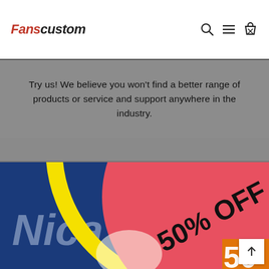Fanscustom
Try us! We believe you won't find a better range of products or service and support anywhere in the industry.
[Figure (photo): Product promotional image showing sports ball/item with '50% OFF' text overlaid on a red and yellow circular graphic, with blue background showing partial text 'Nica'. An orange badge with '50' is also visible in the lower right. A white scroll-to-top arrow button appears in the lower right corner.]